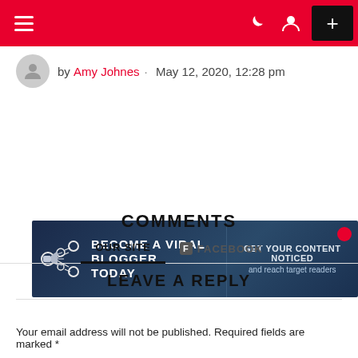Navigation bar with hamburger menu, icons, and plus button
by Amy Johnes · May 12, 2020, 12:28 pm
[Figure (infographic): Ad banner: BECOME A VIRAL BLOGGER TODAY | GET YOUR CONTENT NOTICED and reach target readers]
COMMENTS
OUR SITE  FACEBOOK
LEAVE A REPLY
Your email address will not be published. Required fields are marked *